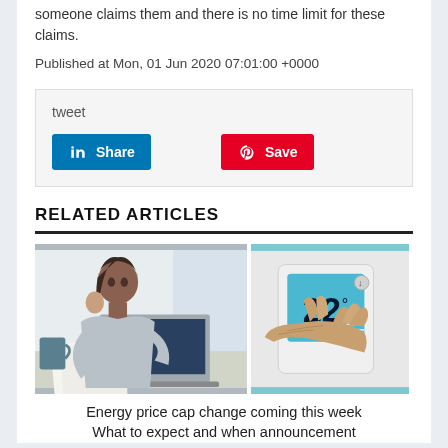someone claims them and there is no time limit for these claims.
Published at Mon, 01 Jun 2020 07:01:00 +0000
[Figure (other): Social sharing box with tweet text and LinkedIn Share and Pinterest Save buttons]
RELATED ARTICLES
[Figure (photo): Two photos side by side: left shows a worried woman looking at papers at a laptop, right shows an elderly hand adjusting a digital thermostat showing 22 degrees]
Energy price cap change coming this week What to expect and when announcement